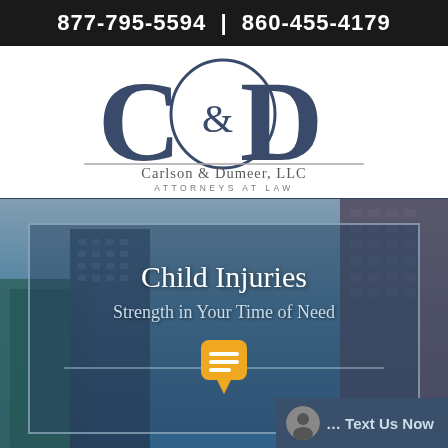877-795-5594 | 860-455-4179
[Figure (logo): Carlson & Dumeer, LLC Attorneys at Law logo with large C&D monogram]
[Figure (photo): City buildings background with overlay box containing title 'Child Injuries', tagline 'Strength in Your Time of Need', a chat icon, and a 'Text Us Now' button in the bottom right]
Child Injuries
Strength in Your Time of Need
... Text Us Now